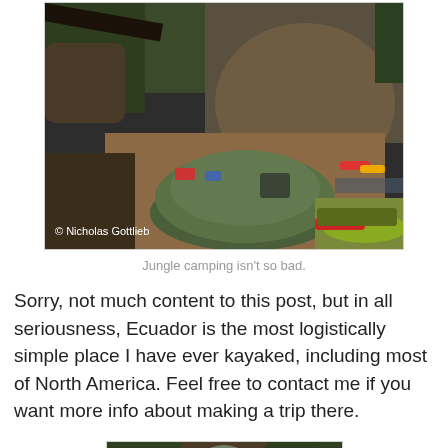[Figure (photo): Jungle campsite beside a river with a green tent in the foreground, colorful kayaks lined along a rocky shore, surrounded by lush vegetation and large boulders. Photo credit: © Nicholas Gottlieb]
Jungle camping isn't so bad.
Sorry, not much content to this post, but in all seriousness, Ecuador is the most logistically simple place I have ever kayaked, including most of North America. Feel free to contact me if you want more info about making a trip there.
[Figure (photo): Aerial or elevated view of a river canyon cutting through dense green jungle vegetation, partially obscured.]